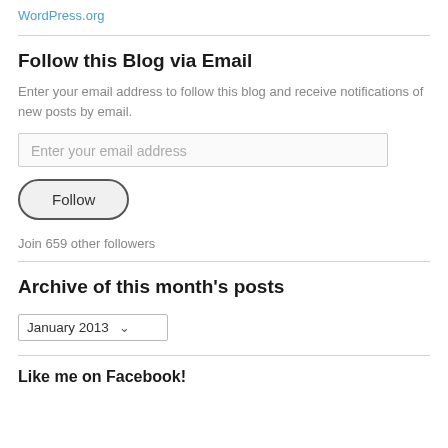WordPress.org
Follow this Blog via Email
Enter your email address to follow this blog and receive notifications of new posts by email.
Enter your email address
Follow
Join 659 other followers
Archive of this month's posts
January 2013
Like me on Facebook!